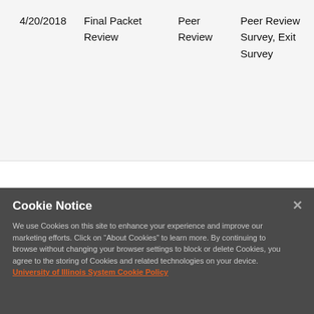| 4/20/2018 | Final Packet Review | Peer Review | Peer Review Survey, Exit Survey |
Cookie Notice
We use Cookies on this site to enhance your experience and improve our marketing efforts. Click on “About Cookies” to learn more. By continuing to browse without changing your browser settings to block or delete Cookies, you agree to the storing of Cookies and related technologies on your device. University of Illinois System Cookie Policy